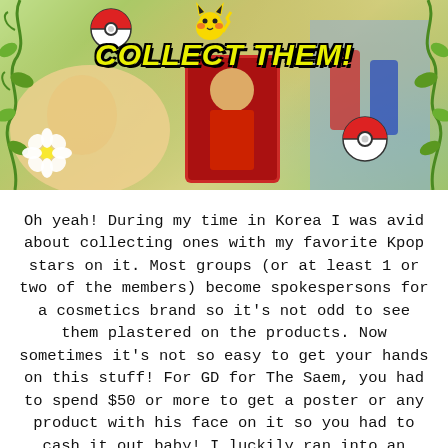[Figure (photo): Colorful banner image with green vine decorations on sides, Pokéball icons, a Pikachu icon, white flower, faces/people in background, a card with a person in red jacket in the center, and bold yellow italic text 'COLLECT THEM!' at the top center.]
Oh yeah! During my time in Korea I was avid about collecting ones with my favorite Kpop stars on it. Most groups (or at least 1 or two of the members) become spokespersons for a cosmetics brand so it's not odd to see them plastered on the products. Now sometimes it's not so easy to get your hands on this stuff! For GD for The Saem, you had to spend $50 or more to get a poster or any product with his face on it so you had to cash it out baby! I luckily ran into an employee that loved foreigners (as most do) and threw in a GD face sheet for me with my purchase